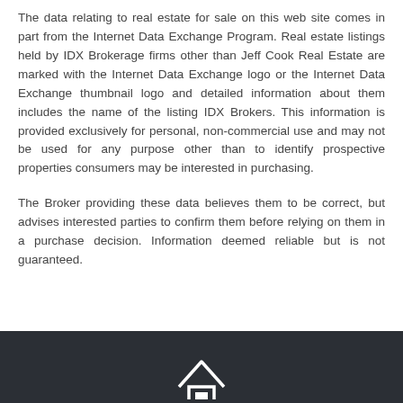The data relating to real estate for sale on this web site comes in part from the Internet Data Exchange Program. Real estate listings held by IDX Brokerage firms other than Jeff Cook Real Estate are marked with the Internet Data Exchange logo or the Internet Data Exchange thumbnail logo and detailed information about them includes the name of the listing IDX Brokers. This information is provided exclusively for personal, non-commercial use and may not be used for any purpose other than to identify prospective properties consumers may be interested in purchasing.
The Broker providing these data believes them to be correct, but advises interested parties to confirm them before relying on them in a purchase decision. Information deemed reliable but is not guaranteed.